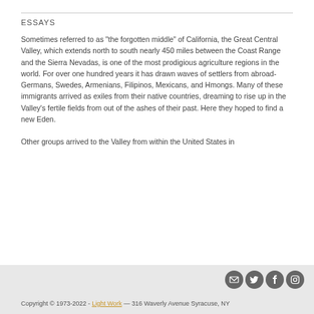ESSAYS
Sometimes referred to as "the forgotten middle" of California, the Great Central Valley, which extends north to south nearly 450 miles between the Coast Range and the Sierra Nevadas, is one of the most prodigious agriculture regions in the world. For over one hundred years it has drawn waves of settlers from abroad- Germans, Swedes, Armenians, Filipinos, Mexicans, and Hmongs. Many of these immigrants arrived as exiles from their native countries, dreaming to rise up in the Valley's fertile fields from out of the ashes of their past. Here they hoped to find a new Eden.

Other groups arrived to the Valley from within the United States in
Read More
Copyright © 1973-2022 - Light Work — 316 Waverly Avenue Syracuse, NY